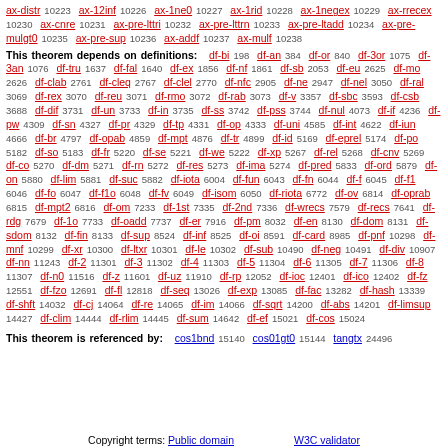ax-distr 10223 ax-12inf 10226 ax-1ne0 10227 ax-1rid 10228 ax-1negex 10229 ax-rrecex 10230 ax-cnre 10231 ax-pre-lttri 10232 ax-pre-lttrn 10233 ax-pre-ltadd 10234 ax-pre-mulgt0 10235 ax-pre-sup 10236 ax-addf 10237 ax-mulf 10238
This theorem depends on definitions: df-bi 198 df-an 384 df-or 840 df-3or 1075 df-3an 1076 df-tru 1637 df-fal 1640 df-ex 1856 df-nf 1861 df-sb 2053 df-eu 2625 df-mo 2626 df-clab 2761 df-cleq 2767 df-clel 2770 df-nfc 2905 df-ne 2947 df-nel 3050 df-ral 3069 df-rex 3070 df-reu 3071 df-rmo 3072 df-rab 3073 df-v 3357 df-sbc 3593 df-csb 3688 df-dif 3731 df-un 3733 df-in 3735 df-ss 3742 df-pss 3744 df-nul 4073 df-if 4236 df-pw 4309 df-sn 4327 df-pr 4329 df-tp 4331 df-op 4333 df-uni 4585 df-int 4622 df-iun 4666 df-br 4797 df-opab 4859 df-mpt 4876 df-tr 4899 df-id 5169 df-eprel 5174 df-po 5182 df-so 5183 df-fr 5220 df-se 5221 df-we 5222 df-xp 5267 df-rel 5268 df-cnv 5269 df-co 5270 df-dm 5271 df-rn 5272 df-res 5273 df-ima 5274 df-pred 5833 df-ord 5879 df-on 5880 df-lim 5881 df-suc 5882 df-iota 6004 df-fun 6043 df-fn 6044 df-f 6045 df-f1 6046 df-fo 6047 df-f1o 6048 df-fv 6049 df-isom 6050 df-riota 6772 df-ov 6814 df-oprab 6815 df-mpt2 6816 df-om 7233 df-1st 7335 df-2nd 7336 df-wrecs 7579 df-recs 7641 df-rdg 7679 df-1o 7733 df-oadd 7737 df-er 7916 df-pm 8032 df-en 8130 df-dom 8131 df-sdom 8132 df-fin 8133 df-sup 8524 df-inf 8525 df-oi 8591 df-card 8985 df-pnf 10298 df-mnf 10299 df-xr 10300 df-ltxr 10301 df-le 10302 df-sub 10490 df-neg 10491 df-div 10907 df-nn 11243 df-2 11301 df-3 11302 df-4 11303 df-5 11304 df-6 11305 df-7 11306 df-8 11307 df-n0 11516 df-z 11601 df-uz 11910 df-rp 12052 df-ioc 12401 df-ico 12402 df-fz 12551 df-fzo 12691 df-fl 12818 df-seq 13026 df-exp 13085 df-fac 13282 df-hash 13339 df-shft 14032 df-cj 14064 df-re 14065 df-im 14066 df-sqrt 14200 df-abs 14201 df-limsup 14427 df-clim 14444 df-rlim 14445 df-sum 14642 df-ef 15021 df-cos 15024
This theorem is referenced by: cos1bnd 15140 cos01gt0 15144 tangtx 24496
Copyright terms: Public domain    W3C validator